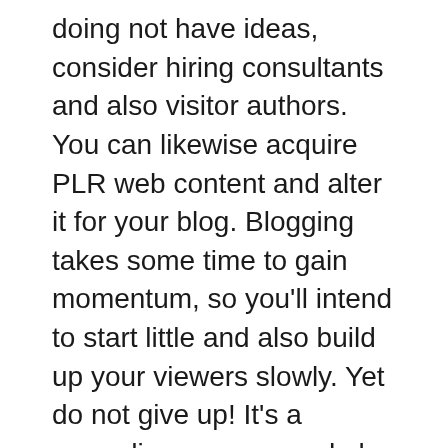doing not have ideas, consider hiring consultants and also visitor authors. You can likewise acquire PLR web content and alter it for your blog. Blogging takes some time to gain momentum, so you'll intend to start little and also build up your viewers slowly. Yet do not give up! It's a rewarding process and also one you'll soon profit of.
Blogging come from 1994 as a means to produce an online journal where individuals might share their individual details and also daily lives. Blog sites show info backwards chronological order, with the most recent articles at the top. Besides, you can even develop a private blog for yourself and also make it available to others only if you wish to. By establishing your blog site to be